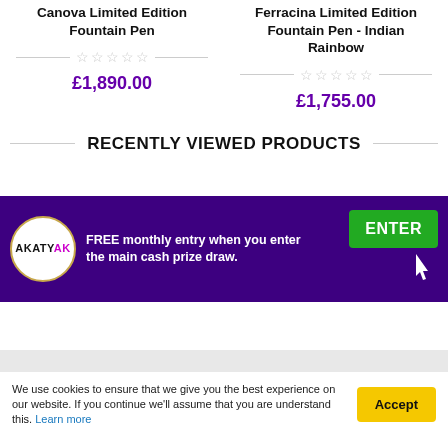Canova Limited Edition Fountain Pen
£1,890.00
Ferracina Limited Edition Fountain Pen - Indian Rainbow
£1,755.00
RECENTLY VIEWED PRODUCTS
[Figure (infographic): Purple banner with AkatyAK logo circle, text 'FREE monthly entry when you enter the main cash prize draw.' and a green ENTER button with cursor icon.]
We use cookies to ensure that we give you the best experience on our website. If you continue we'll assume that you are understand this. Learn more
Accept